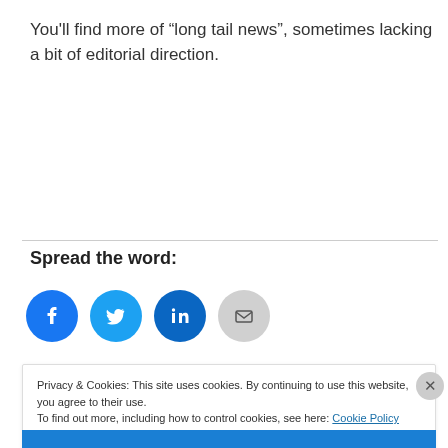You'll find more of “long tail news”, sometimes lacking a bit of editorial direction.
Spread the word:
[Figure (infographic): Four social sharing icon buttons: Facebook (blue circle), Twitter (light blue circle), LinkedIn (dark blue circle), Email (grey circle)]
Privacy & Cookies: This site uses cookies. By continuing to use this website, you agree to their use.
To find out more, including how to control cookies, see here: Cookie Policy
Close and accept